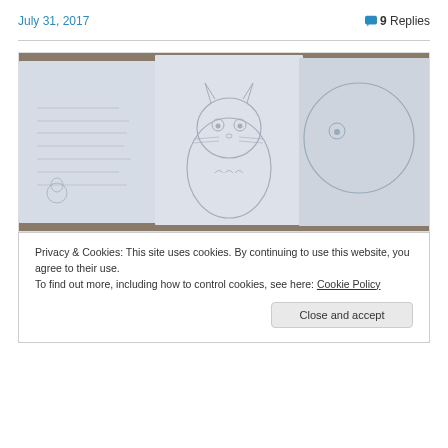July 31, 2017
9 Replies
[Figure (photo): A photo of hand-drawn pencil sketches on white paper, showing a Totoro character drawing in the center and other sketch pages on the left and right.]
Privacy & Cookies: This site uses cookies. By continuing to use this website, you agree to their use.
To find out more, including how to control cookies, see here: Cookie Policy
Close and accept